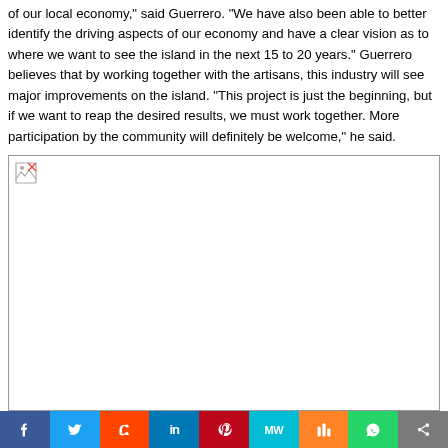of our local economy," said Guerrero. "We have also been able to better identify the driving aspects of our economy and have a clear vision as to where we want to see the island in the next 15 to 20 years." Guerrero believes that by working together with the artisans, this industry will see major improvements on the island. "This project is just the beginning, but if we want to reap the desired results, we must work together. More participation by the community will definitely be welcome," he said.
[Figure (photo): Image placeholder with broken image icon (image failed to load)]
Social share bar: Facebook, Twitter, Reddit, LinkedIn, Pinterest, MW, Mix, WhatsApp, Share